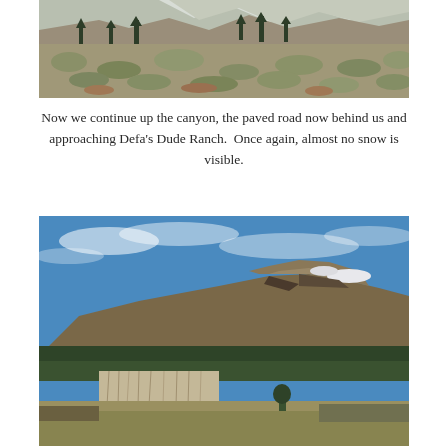[Figure (photo): Landscape photo of a mountain canyon with sagebrush scrubland in the foreground, conifer trees in the middle distance, and rocky mountain peaks with snow in the background.]
Now we continue up the canyon, the paved road now behind us and approaching Defa's Dude Ranch.  Once again, almost no snow is visible.
[Figure (photo): Wide landscape photo showing a large flat-topped rocky mountain with small amounts of snow, flanked by forested slopes and bare aspen trees, under a blue sky with light clouds. A grassy meadow is visible in the foreground.]